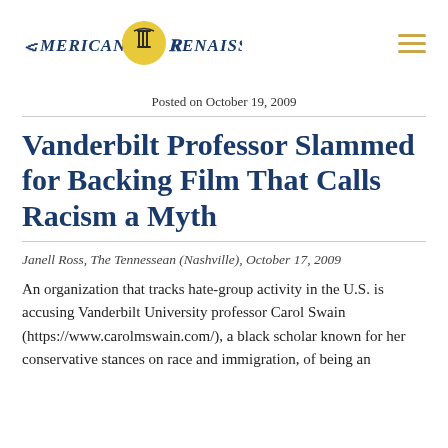[Figure (logo): American Renaissance logo with ionic column inside a yellow circle, flanked by italic serif text reading 'American Renaissance']
Posted on October 19, 2009
Vanderbilt Professor Slammed for Backing Film That Calls Racism a Myth
Janell Ross, The Tennessean (Nashville), October 17, 2009
An organization that tracks hate-group activity in the U.S. is accusing Vanderbilt University professor Carol Swain (https://www.carolmswain.com/), a black scholar known for her conservative stances on race and immigration, of being an